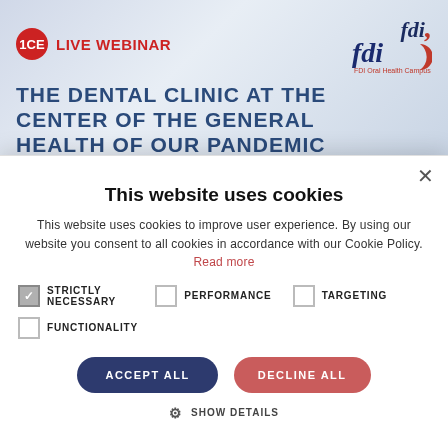[Figure (screenshot): FDI Oral Health Campus live webinar banner. Shows a red circle badge with '1CE', red text 'LIVE WEBINAR', and FDI logo on the right. Blue text headline reads 'THE DENTAL CLINIC AT THE CENTER OF THE GENERAL HEALTH OF OUR PANDEMIC PATIENTS'.]
This website uses cookies
This website uses cookies to improve user experience. By using our website you consent to all cookies in accordance with our Cookie Policy. Read more
STRICTLY NECESSARY (checked)
PERFORMANCE (unchecked)
TARGETING (unchecked)
FUNCTIONALITY (unchecked)
ACCEPT ALL   DECLINE ALL
SHOW DETAILS